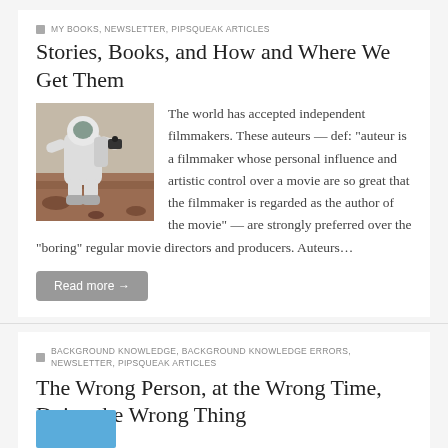MY BOOKS, NEWSLETTER, PIPSQUEAK ARTICLES
Stories, Books, and How and Where We Get Them
[Figure (photo): Astronaut in white spacesuit photographing on a reddish rocky terrain]
The world has accepted independent filmmakers. These auteurs — def: “auteur is a filmmaker whose personal influence and artistic control over a movie are so great that the filmmaker is regarded as the author of the movie” — are strongly preferred over the “boring” regular movie directors and producers. Auteurs…
Read more →
BACKGROUND KNOWLEDGE, BACKGROUND KNOWLEDGE ERRORS, NEWSLETTER, PIPSQUEAK ARTICLES
The Wrong Person, at the Wrong Time, Doing the Wrong Thing